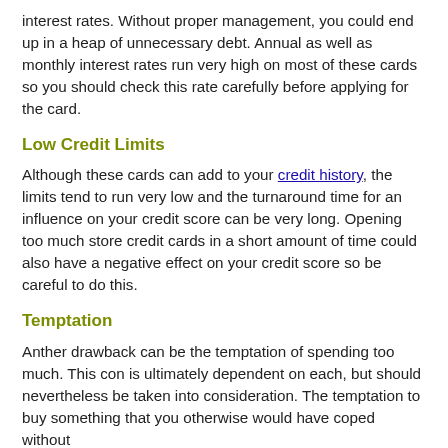interest rates. Without proper management, you could end up in a heap of unnecessary debt. Annual as well as monthly interest rates run very high on most of these cards so you should check this rate carefully before applying for the card.
Low Credit Limits
Although these cards can add to your credit history, the limits tend to run very low and the turnaround time for an influence on your credit score can be very long. Opening too much store credit cards in a short amount of time could also have a negative effect on your credit score so be careful to do this.
Temptation
Anther drawback can be the temptation of spending too much. This con is ultimately dependent on each, but should nevertheless be taken into consideration. The temptation to buy something that you otherwise would have coped without